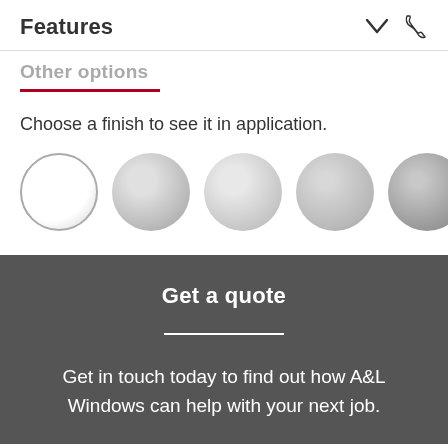Features
Other options
Choose a finish to see it in application.
[Figure (illustration): Five circular swatches showing different finish options, ranging from white/light to progressively darker grey tones. The first swatch has a border indicating it is selected.]
Get a quote
Get in touch today to find out how A&L Windows can help with your next job.